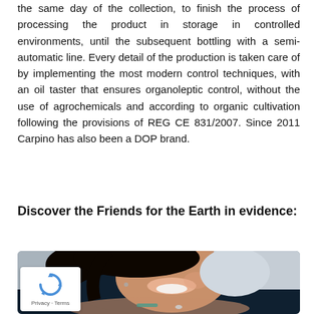the same day of the collection, to finish the process of processing the product in storage in controlled environments, until the subsequent bottling with a semi-automatic line. Every detail of the production is taken care of by implementing the most modern control techniques, with an oil taster that ensures organoleptic control, without the use of agrochemicals and according to organic cultivation following the provisions of REG CE 831/2007. Since 2011 Carpino has also been a DOP brand.
Discover the Friends for the Earth in evidence:
[Figure (photo): A smiling woman with dark hair, resting her chin/hands forward, wearing a dark navy outfit, with a reCAPTCHA badge overlaid in the bottom-left corner of the image.]